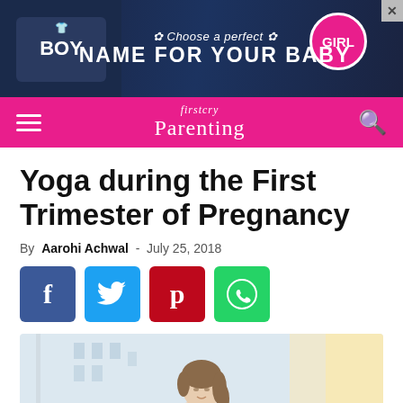[Figure (infographic): Advertisement banner: dark navy background with boy and girl baby name theme. Left side shows a chalkboard with 'BOY'. Center text reads 'Choose a perfect' and 'NAME FOR YOUR BABY'. Right side shows a 'GIRL' badge.]
firstcry Parenting
Yoga during the First Trimester of Pregnancy
By Aarohi Achwal - July 25, 2018
[Figure (infographic): Row of four social share buttons: Facebook (blue, f icon), Twitter (light blue, bird icon), Pinterest (red, P icon), WhatsApp (green, phone icon)]
[Figure (photo): Pregnant woman with eyes closed, meditating in a yoga pose, light background with city windows behind her.]